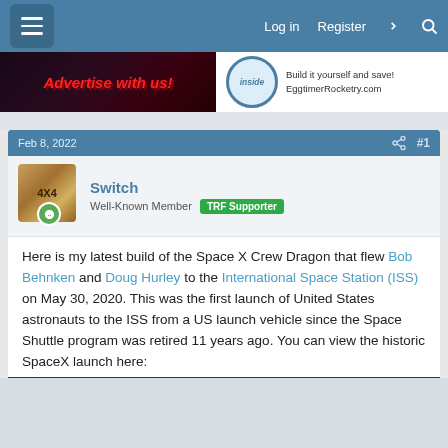Log in  Register
[Figure (screenshot): Advertisement banner: 'Advertise with us!' on left, EggtimerRocketry.com badge on right]
Feb 8, 2022  #1
Switch
Well-Known Member  TRF Supporter
Here is my latest build of the Space X Crew Dragon that flew Bob Behnken and Doug Hurley to the International Space Station (ISS) on May 30, 2020. This was the first launch of United States astronauts to the ISS from a US launch vehicle since the Space Shuttle program was retired 11 years ago. You can view the historic SpaceX launch here:
[Figure (screenshot): Embedded YouTube live video player showing SpaceX launch]